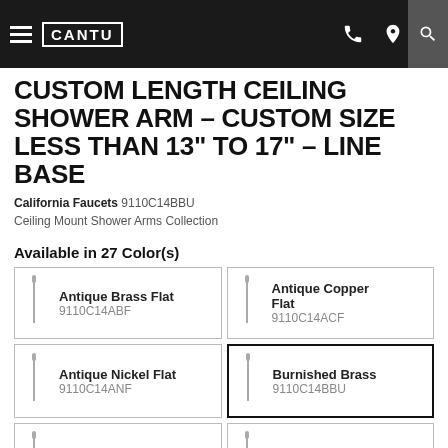CANTU
CUSTOM LENGTH CEILING SHOWER ARM - CUSTOM SIZE LESS THAN 13" TO 17" - LINE BASE
California Faucets 9110C14BBU
Ceiling Mount Shower Arms Collection
Available in 27 Color(s)
| Image | Color Name | SKU |
| --- | --- | --- |
| [icon] | Antique Brass Flat | 9110C14ABF |
| [icon] | Antique Copper Flat | 9110C14ACF |
| [icon] | Antique Nickel Flat | 9110C14ANF |
| [icon] | Burnished Brass | 9110C14BBU |
| [icon] | Black | 9110C14BLK |
| [icon] | Black Nickel | 9110C14BLKN |